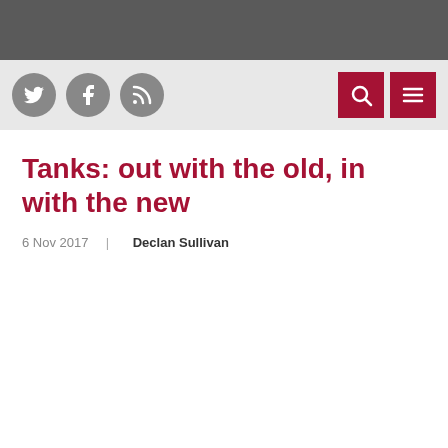[Figure (other): Navigation bar with social media icons (Twitter, Facebook, RSS) on the left and search and menu buttons on the right]
Tanks: out with the old, in with the new
6 Nov 2017  |  Declan Sullivan